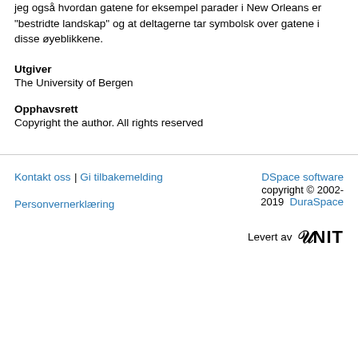jeg også hvordan gatene for eksempel parader i New Orleans er "bestridte landskap" og at deltagerne tar symbolsk over gatene i disse øyeblikkene.
Utgiver
The University of Bergen
Opphavsrett
Copyright the author. All rights reserved
Kontakt oss | Gi tilbakemelding | Personvernerklæring | DSpace software copyright © 2002-2019 DuraSpace | Levert av UNIT